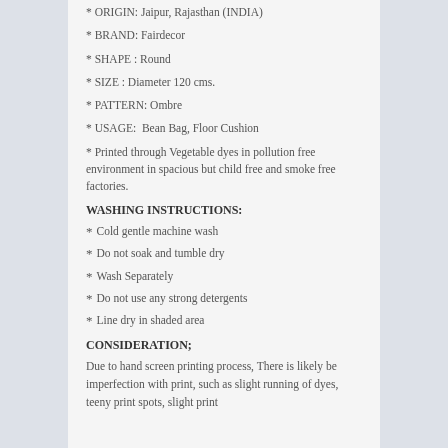* ORIGIN: Jaipur, Rajasthan (INDIA)
* BRAND: Fairdecor
* SHAPE : Round
* SIZE : Diameter 120 cms.
* PATTERN: Ombre
* USAGE:  Bean Bag, Floor Cushion
* Printed through Vegetable dyes in pollution free environment in spacious but child free and smoke free factories.
WASHING INSTRUCTIONS:
* Cold gentle machine wash
* Do not soak and tumble dry
* Wash Separately
* Do not use any strong detergents
* Line dry in shaded area
CONSIDERATION;
Due to hand screen printing process, There is likely be imperfection with print, such as slight running of dyes, teeny print spots, slight print